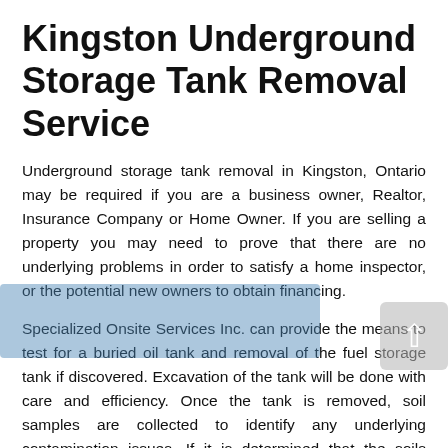Kingston Underground Storage Tank Removal Service
Underground storage tank removal in Kingston, Ontario may be required if you are a business owner, Realtor, Insurance Company or Home Owner. If you are selling a property you may need to prove that there are no underlying problems in order to satisfy a home inspector, or the potential new owners to obtain financing.
Specialized Onsite Services Inc. can provide the means to test for a buried oil tank and removal of the fuel storage tank if discovered. Excavation of the tank will be done with care and efficiency. Once the tank is removed, soil samples are collected to identify any underlying contamination issues. If it is determined that the soils surrounding a buried tank are contaminated, our team can also be utilized to your Kingston, Ontario location for the removal of the impacted material.
The soil will be transported to a certified facility near Kingston, Ontario for contaminated soil. Once it is determined that all the impacted soil has been removed from the site, confirmatory or